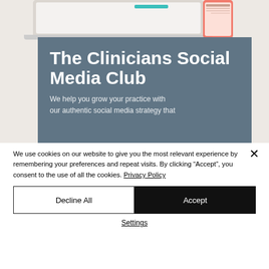[Figure (screenshot): Website screenshot showing a laptop and phone mockup at top, with a blue-grey banner titled 'The Clinicians Social Media Club' with subtitle text]
The Clinicians Social Media Club
We help you grow your practice with our authentic social media strategy that
We use cookies on our website to give you the most relevant experience by remembering your preferences and repeat visits. By clicking “Accept”, you consent to the use of all the cookies. Privacy Policy
Decline All
Accept
Settings